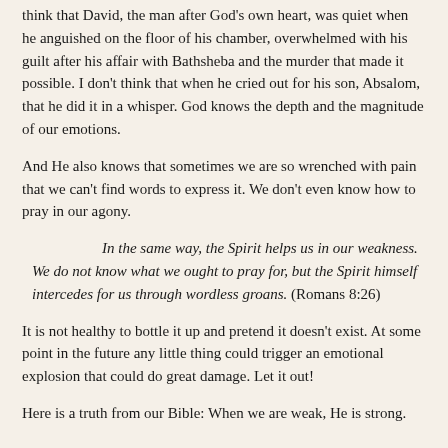think that David, the man after God's own heart, was quiet when he anguished on the floor of his chamber, overwhelmed with his guilt after his affair with Bathsheba and the murder that made it possible. I don't think that when he cried out for his son, Absalom, that he did it in a whisper. God knows the depth and the magnitude of our emotions.
And He also knows that sometimes we are so wrenched with pain that we can't find words to express it. We don't even know how to pray in our agony.
In the same way, the Spirit helps us in our weakness. We do not know what we ought to pray for, but the Spirit himself intercedes for us through wordless groans. (Romans 8:26)
It is not healthy to bottle it up and pretend it doesn't exist. At some point in the future any little thing could trigger an emotional explosion that could do great damage. Let it out!
Here is a truth from our Bible: When we are weak, He is strong.